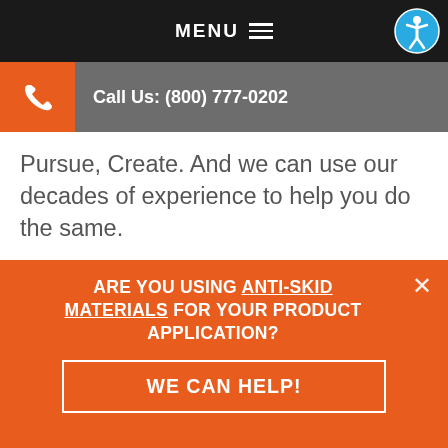MENU
Call Us: (800) 777-0202
Pursue, Create. And we can use our decades of experience to help you do the same.
Contact Frank Lowe today to learn more about using anti-skid products and anti-skid materials.
ARE YOU USING ANTI-SKID MATERIALS FOR YOUR PRODUCT APPLICATION?
WE CAN HELP!